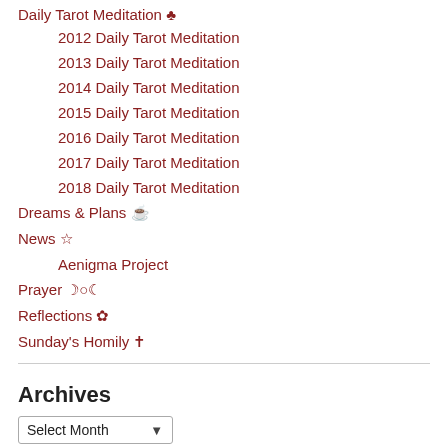Daily Tarot Meditation ♣
2012 Daily Tarot Meditation
2013 Daily Tarot Meditation
2014 Daily Tarot Meditation
2015 Daily Tarot Meditation
2016 Daily Tarot Meditation
2017 Daily Tarot Meditation
2018 Daily Tarot Meditation
Dreams & Plans ☕
News ☆
Aenigma Project
Prayer 🌗🌕🌓
Reflections 🧿
Sunday's Homily ✝
Archives